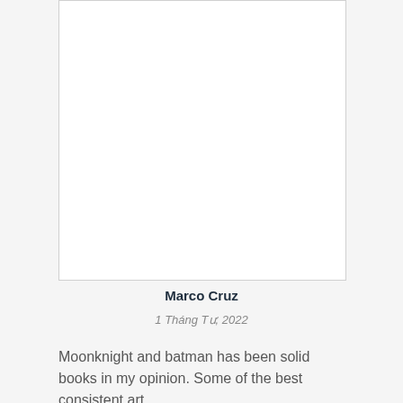[Figure (other): White rectangular image placeholder with border]
Marco Cruz
1 Tháng Tư, 2022
Moonknight and batman has been solid books in my opinion. Some of the best consistent art.